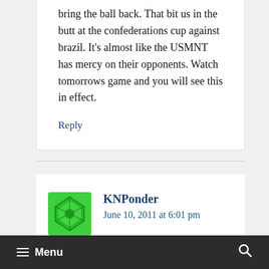bring the ball back. That bit us in the butt at the confederations cup against brazil. It's almost like the USMNT has mercy on their opponents. Watch tomorrows game and you will see this in effect.
Reply
KNPonder
June 10, 2011 at 6:01 pm
Menu